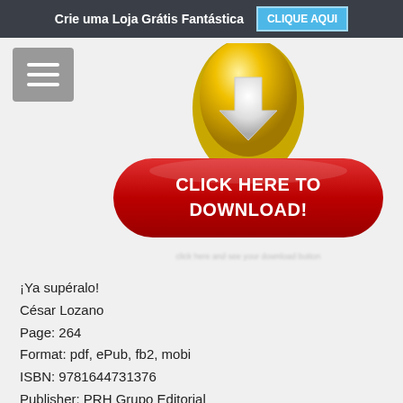Crie uma Loja Grátis Fantástica   CLIQUE AQUI
[Figure (illustration): Hamburger menu button (three horizontal lines on grey rounded rectangle background)]
[Figure (illustration): Download button: red pill-shaped button with white bold text 'CLICK HERE TO DOWNLOAD!' and gold/yellow oval with downward arrow above it. Blurred URL text below button.]
¡Ya supéralo!
César Lozano
Page: 264
Format: pdf, ePub, fb2, mobi
ISBN: 9781644731376
Publisher: PRH Grupo Editorial